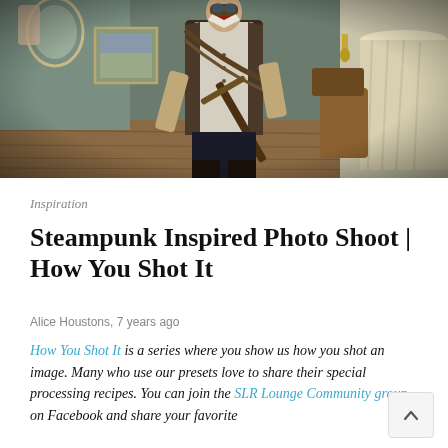[Figure (photo): Steampunk-costumed person in vest and goggles holding a rifle-like prop, standing in a decorated room with a painting and draped fabric in the background.]
Inspiration
Steampunk Inspired Photo Shoot | How You Shot It
Alice Houstons, 7 years ago
How You Shot It is a series where you show us how you shot an image. Many who use our presets love to share their special processing recipes. You can join the SLR Lounge Community group on Facebook and share your favorite